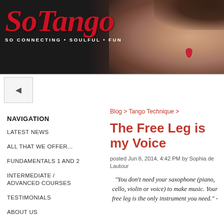[Figure (logo): SoTango logo with red script text and tagline 'SO CONNECTING • SOULFUL • FUN' on dark background with woman's face/ear photo on right side]
[Figure (other): Sidebar toggle icon button with left arrow]
NAVIGATION
LATEST NEWS
ALL THAT WE OFFER...
FUNDAMENTALS 1 AND 2
INTERMEDIATE / ADVANCED COURSES
TESTIMONIALS
ABOUT US
ABOUT TANGO
FAQ
Blog > Tango Technique >
The Free Leg is my Voice
posted Jun 8, 2014, 4:42 PM by Sophia de Lautour
"You don't need your saxophone (piano, cello, violin or voice) to make music. Your free leg is the only instrument you need." -